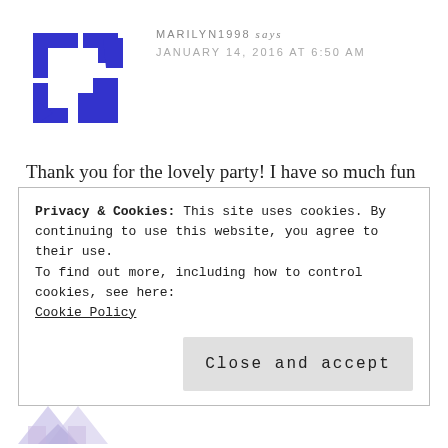[Figure (logo): Abstract geometric logo made of blue angular shapes arranged in a square bracket-like pattern]
MARILYN1998 says
JANUARY 14, 2016 AT 6:50 AM
Thank you for the lovely party! I have so much fun checking the lnks. I hope to see you at the next #overthemoon.
Reply
Privacy & Cookies: This site uses cookies. By continuing to use this website, you agree to their use.
To find out more, including how to control cookies, see here:
Cookie Policy
Close and accept